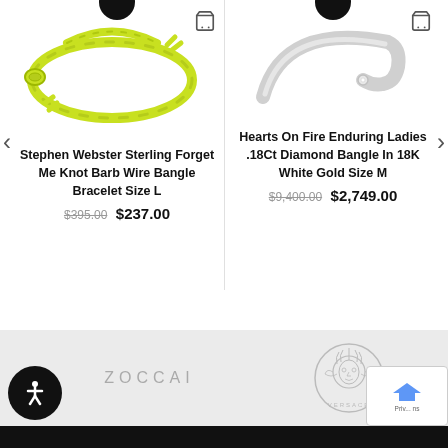[Figure (photo): Yellow-green barbed wire / knot bangle bracelet on white background]
Stephen Webster Sterling Forget Me Knot Barb Wire Bangle Bracelet Size L
$395.00 $237.00
[Figure (photo): White gold diamond bangle on white background]
Hearts On Fire Enduring Ladies .18Ct Diamond Bangle In 18K White Gold Size M
$9,400.00 $2,749.00
[Figure (logo): ZOCCAI brand text logo]
[Figure (logo): Versace Medusa logo with VERSACE text]